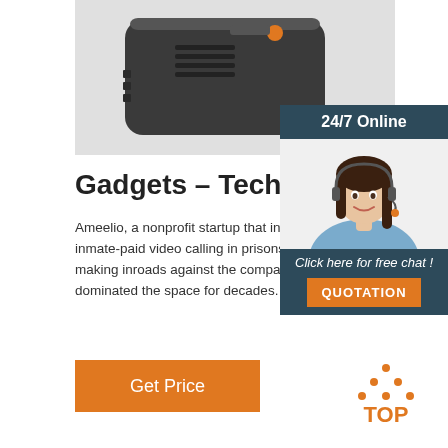[Figure (photo): Close-up of a dark gray electronic device (appears to be a portable radio or electronic gadget) on a light gray/white background]
Gadgets – TechCrunch
Ameelio, a nonprofit startup that intends to replace inmate-paid video calling in prisons with a free service, is making inroads against the companies that have dominated the space for decades.
[Figure (infographic): 24/7 Online customer service widget showing a woman wearing a headset, with 'Click here for free chat!' text and an orange QUOTATION button]
[Figure (logo): Orange and dark dot triangle logo with text TOP]
[Figure (other): Orange Get Price button]